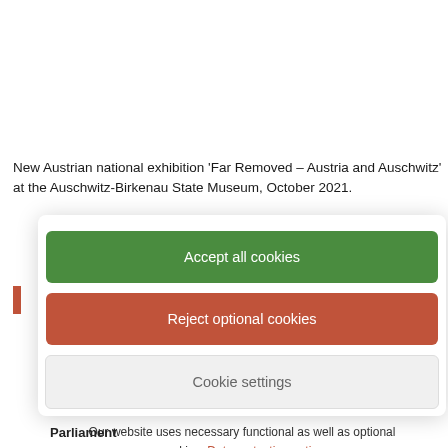New Austrian national exhibition 'Far Removed – Austria and Auschwitz' at the Auschwitz-Birkenau State Museum, October 2021.
[Figure (screenshot): Cookie consent modal with three buttons: 'Accept all cookies' (green), 'Reject optional cookies' (red/brown), 'Cookie settings' (light grey), and notice text below.]
Our website uses necessary functional as well as optional cookies. Data protection notice
Parliament